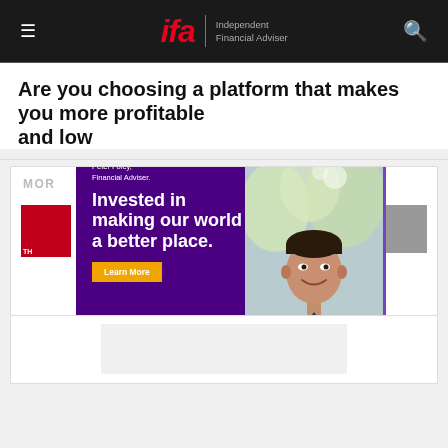ifa | Independent Financial Adviser
Are you choosing a platform that makes you more profitable and low...
[Figure (screenshot): Pendal advertisement overlay on IFA website. Shows Peter Foley, Financial Adviser with text 'Invested in making our world a better place.' and a Learn More button. Photo of man in blue blazer on right side.]
MORE